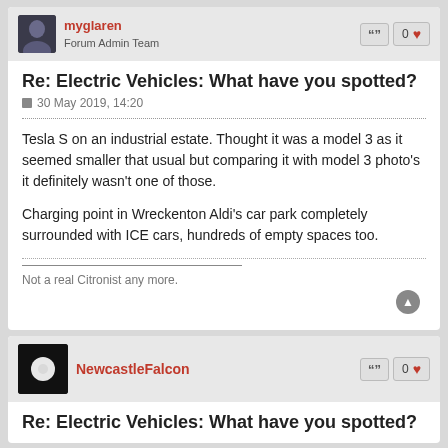myglaren — Forum Admin Team
Re: Electric Vehicles: What have you spotted?
30 May 2019, 14:20
Tesla S on an industrial estate. Thought it was a model 3 as it seemed smaller that usual but comparing it with model 3 photo's it definitely wasn't one of those.

Charging point in Wreckenton Aldi's car park completely surrounded with ICE cars, hundreds of empty spaces too.
Not a real Citronist any more.
NewcastleFalcon
Re: Electric Vehicles: What have you spotted?